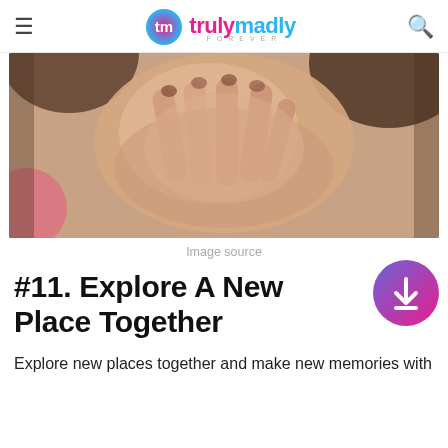trulymadly
[Figure (photo): A blurred artistic photograph of two people's hands touching or cupping someone's face, warm tones with soft focus]
Image source
#11. Explore A New Place Together
Explore new places together and make new memories with